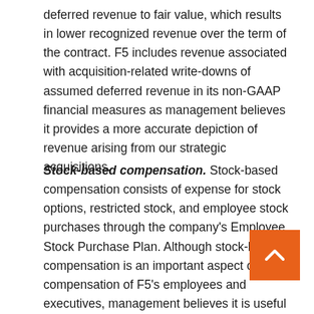deferred revenue to fair value, which results in lower recognized revenue over the term of the contract. F5 includes revenue associated with acquisition-related write-downs of assumed deferred revenue in its non-GAAP financial measures as management believes it provides a more accurate depiction of revenue arising from our strategic acquisitions.
Stock-based compensation. Stock-based compensation consists of expense for stock options, restricted stock, and employee stock purchases through the company's Employee Stock Purchase Plan. Although stock-based compensation is an important aspect of the compensation of F5's employees and executives, management believes it is useful to exclude stock-based compensation expenses to better understand the long-term performance of the